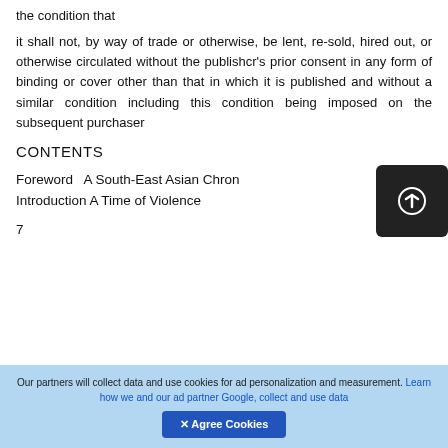the condition that
it shall not, by way of trade or otherwise, be lent, re-sold, hired out, or otherwise circulated without the publishcr's prior consent in any form of binding or cover other than that in which it is published and without a similar condition including this condition being imposed on the subsequent purchaser
CONTENTS
Foreword A South-East Asian Chron Introduction A Time of Violence
7
Our partners will collect data and use cookies for ad personalization and measurement. Learn how we and our ad partner Google, collect and use data